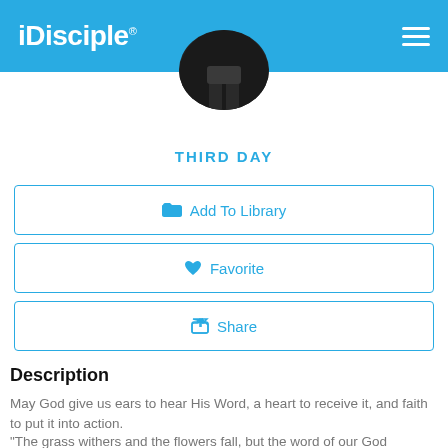iDisciple
[Figure (photo): Circular profile photo showing a dark silhouette figure, partially cropped at top of page]
THIRD DAY
Add To Library
Favorite
Share
Description
May God give us ears to hear His Word, a heart to receive it, and faith to put it into action.
“The grass withers and the flowers fall, but the word of our God